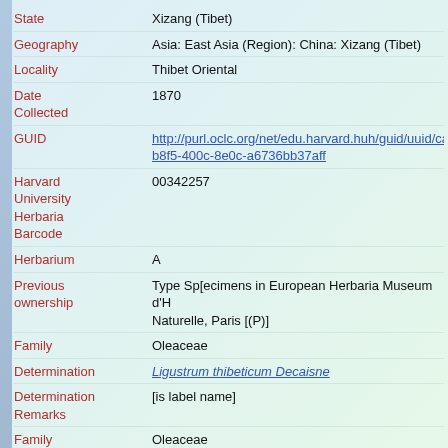| Field | Value |
| --- | --- |
| State | Xizang (Tibet) |
| Geography | Asia: East Asia (Region): China: Xizang (Tibet) |
| Locality | Thibet Oriental |
| Date Collected | 1870 |
| GUID | http://purl.oclc.org/net/edu.harvard.huh/guid/uuid/ca7b8f5-400c-8e0c-a6736bb37aff |
| Harvard University Herbaria Barcode | 00342257 |
| Herbarium | A |
| Previous ownership | Type Sp[ecimens in European Herbaria Museum d'Histoire Naturelle, Paris [(P)] |
| Family | Oleaceae |
| Determination | Ligustrum thibeticum Decaisne |
| Determination Remarks | [is label name] |
| Family | Oleaceae |
| Determination | Ligustrum expansum Rehder |
| Determination Remarks | [is Current name] |